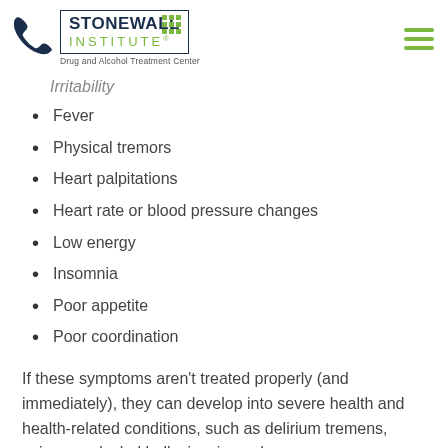[Figure (logo): Stonewall Institute Drug and Alcohol Treatment Center logo with phone icon and green grid dots]
Irritability (partial, truncated at top)
Fever
Physical tremors
Heart palpitations
Heart rate or blood pressure changes
Low energy
Insomnia
Poor appetite
Poor coordination
If these symptoms aren't treated properly (and immediately), they can develop into severe health and health-related conditions, such as delirium tremens, seizures, alcohol hallucinosis, and